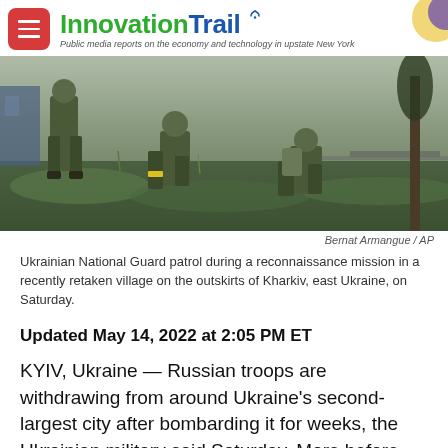InnovationTrail — Public media reports on the economy and technology in upstate New York
[Figure (photo): Ukrainian National Guard soldiers in camouflage gear during a reconnaissance mission in a recently retaken village on the outskirts of Kharkiv, east Ukraine.]
Bernat Armangue / AP
Ukrainian National Guard patrol during a reconnaissance mission in a recently retaken village on the outskirts of Kharkiv, east Ukraine, on Saturday.
Updated May 14, 2022 at 2:05 PM ET
KYIV, Ukraine — Russian troops are withdrawing from around Ukraine's second-largest city after bombarding it for weeks, the Ukrainian military said Saturday. More before...